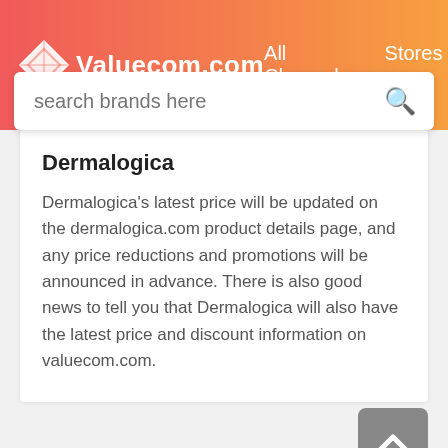Valuecom.com  All Channels  Stores
search brands here
Dermalogica
Dermalogica's latest price will be updated on the dermalogica.com product details page, and any price reductions and promotions will be announced in advance. There is also good news to tell you that Dermalogica will also have the latest price and discount information on valuecom.com.
Dermalogica Coupons and Offers States